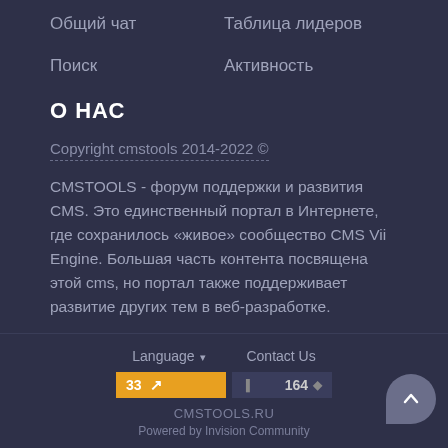Общий чат
Таблица лидеров
Поиск
Активность
О НАС
Copyright cmstools 2014-2022 ©
CMSTOOLS - форум поддержки и развития CMS. Это единственный портал в Интернете, где сохранилось «живое» сообщество CMS Vii Engine. Большая часть контента посвящена этой cms, но портал также поддерживает развитие других тем в веб-разработке.
Language ▾   Contact Us
33 ↗   164 ◆
CMSTOOLS.RU
Powered by Invision Community